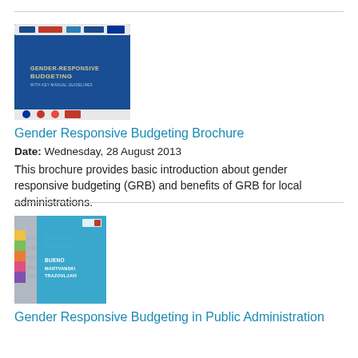[Figure (illustration): Book cover of Gender Responsive Budgeting Brochure — blue background with logos at top and bottom, white text reading GENDER-RESPONSIVE BUDGETING]
Gender Responsive Budgeting Brochure
Date: Wednesday, 28 August 2013
This brochure provides basic introduction about gender responsive budgeting (GRB) and benefits of GRB for local administrations.
[Figure (illustration): Book cover of Gender Responsive Budgeting in Public Administration — multicolored left spine (yellow, green, orange, pink, purple), blue main area with white text BUENO MARTVANSKI TRAZOVLJAVI and small logo top right]
Gender Responsive Budgeting in Public Administration